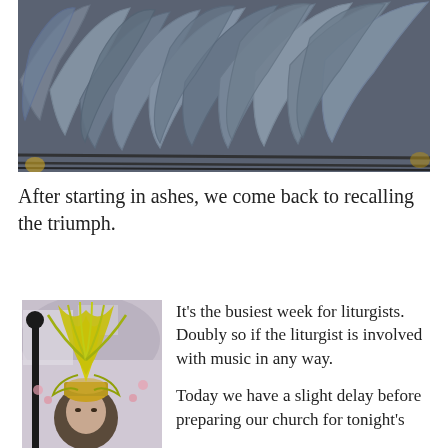[Figure (photo): Close-up photo of dried palm fronds or leaves, grayish-blue in color, layered and overlapping, appearing to be on a grate or rack.]
After starting in ashes, we come back to recalling the triumph.
[Figure (photo): Photo of an elderly man holding or wearing a tall yellow palm frond arrangement, shaped like a decorative spire. Background shows a crowd and outdoor setting.]
It's the busiest week for liturgists. Doubly so if the liturgist is involved with music in any way.

Today we have a slight delay before preparing our church for tonight's